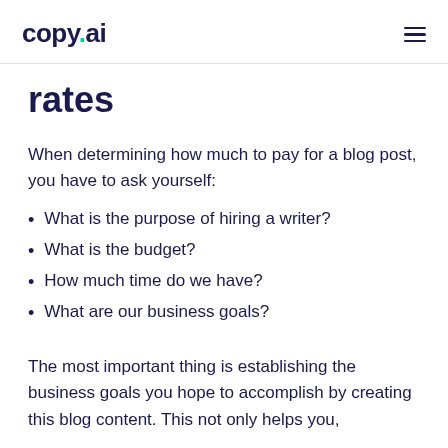copy.ai
rates
When determining how much to pay for a blog post, you have to ask yourself:
What is the purpose of hiring a writer?
What is the budget?
How much time do we have?
What are our business goals?
The most important thing is establishing the business goals you hope to accomplish by creating this blog content. This not only helps you,